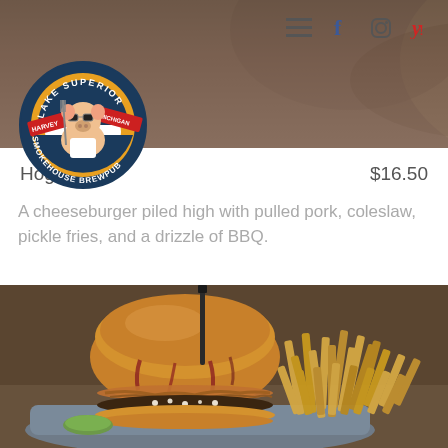[Figure (photo): Top background photo showing food item, partially obscured by logo overlay]
[Figure (logo): Lake Superior Smokehouse Brewpub circular logo with pig mascot wearing sunglasses, HARVEY on left banner, MICHIGAN on right banner]
Hogback
$16.50
A cheeseburger piled high with pulled pork, coleslaw, pickle fries, and a drizzle of BBQ.
[Figure (photo): Photo of a gourmet burger with BBQ sauce and pulled pork on a brioche bun, served with a side of thin-cut fries in a blue/grey dish]